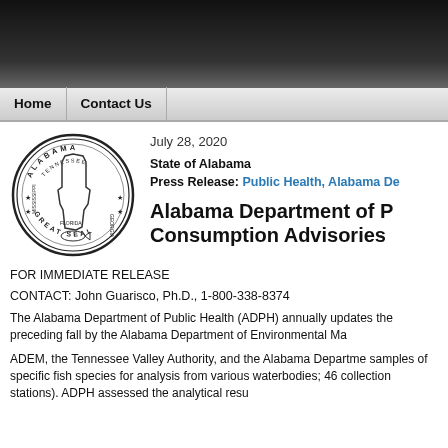Home | Contact Us
[Figure (logo): Alabama Great Seal - circular seal with state outline, surrounding text ALABAMA TENNESSEE MISSISSIPPI GEORGIA FLORIDA GREAT SEAL]
July 28, 2020
State of Alabama
Press Release: Public Health, Alabama De
Alabama Department of P Consumption Advisories
FOR IMMEDIATE RELEASE
CONTACT: John Guarisco, Ph.D., 1-800-338-8374
The Alabama Department of Public Health (ADPH) annually updates the preceding fall by the Alabama Department of Environmental Ma
ADEM, the Tennessee Valley Authority, and the Alabama Departme samples of specific fish species for analysis from various waterbodies; 46 collection stations). ADPH assessed the analytical resu